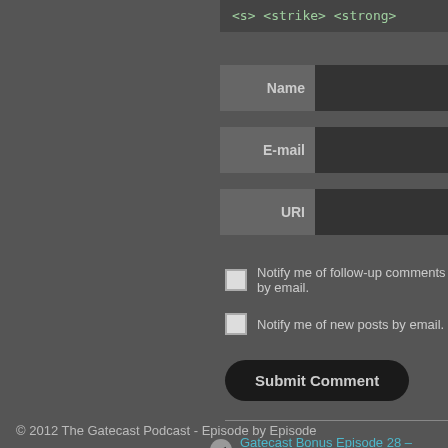<s> <strike> <strong>
Name
E-mail
URI
Notify me of follow-up comments by email.
Notify me of new posts by email.
Submit Comment
Gatecast Bonus Episode 28 – Travelers
© 2012 The Gatecast Podcast - Episode by Episode